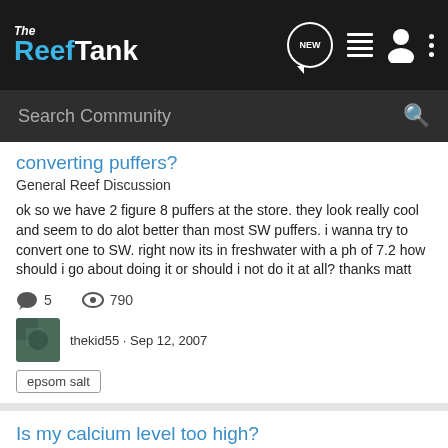The Reef Tank
Search Community
converting puffers?
General Reef Discussion
ok so we have 2 figure 8 puffers at the store. they look really cool and seem to do alot better than most SW puffers. i wanna try to convert one to SW. right now its in freshwater with a ph of 7.2 how should i go about doing it or should i not do it at all? thanks matt
5   790
thekid55 · Sep 12, 2007
epsom salt
Is my calcium level too high?
SPS Coral Forum